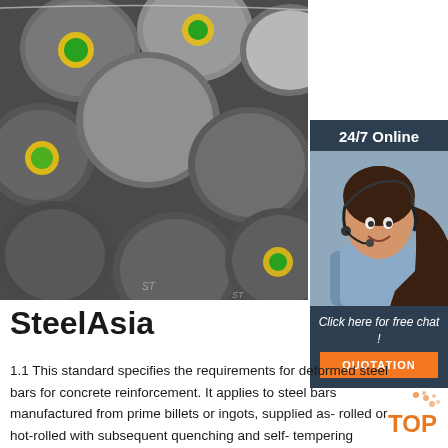[Figure (photo): Stack of round steel bars/billets viewed from one end, showing circular cross-sections with yellow sticker labels, stored in an industrial setting.]
[Figure (photo): Customer service agent — woman with headset smiling, used as 24/7 online chat widget in right sidebar.]
SteelAsia
1.1 This standard specifies the requirements for deformed steel bars for concrete reinforcement. It applies to steel bars manufactured from prime billets or ingots, supplied as- rolled or hot-rolled with subsequent quenching and self- tempering